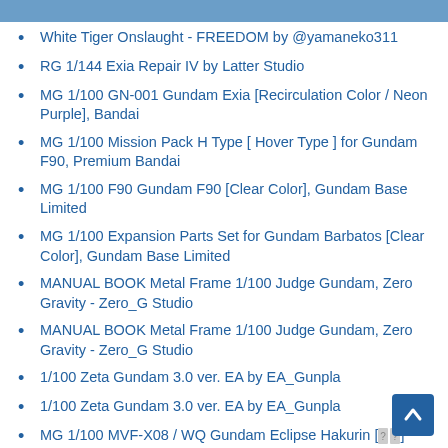White Tiger Onslaught - FREEDOM by @yamaneko311
RG 1/144 Exia Repair IV by Latter Studio
MG 1/100 GN-001 Gundam Exia [Recirculation Color / Neon Purple], Bandai
MG 1/100 Mission Pack H Type [ Hover Type ] for Gundam F90, Premium Bandai
MG 1/100 F90 Gundam F90 [Clear Color], Gundam Base Limited
MG 1/100 Expansion Parts Set for Gundam Barbatos [Clear Color], Gundam Base Limited
MANUAL BOOK Metal Frame 1/100 Judge Gundam, Zero Gravity - Zero_G Studio
MANUAL BOOK Metal Frame 1/100 Judge Gundam, Zero Gravity - Zero_G Studio
1/100 Zeta Gundam 3.0 ver. EA by EA_Gunpla
1/100 Zeta Gundam 3.0 ver. EA by EA_Gunpla
MG 1/100 MVF-X08 / WQ Gundam Eclipse Hakurin [...]